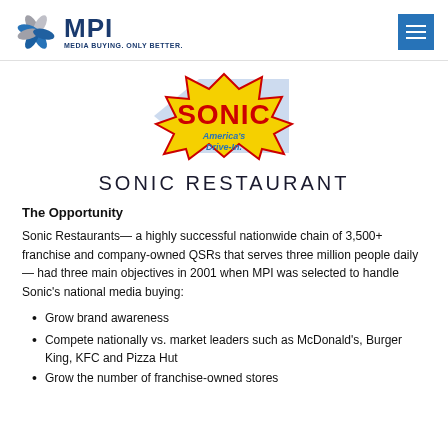[Figure (logo): MPI logo with star/compass icon and text 'MPI MEDIA BUYING. ONLY BETTER.']
[Figure (logo): Sonic America's Drive-In logo with yellow starburst and blue text]
SONIC RESTAURANT
The Opportunity
Sonic Restaurants— a highly successful nationwide chain of 3,500+ franchise and company-owned QSRs that serves three million people daily — had three main objectives in 2001 when MPI was selected to handle Sonic's national media buying:
Grow brand awareness
Compete nationally vs. market leaders such as McDonald's, Burger King, KFC and Pizza Hut
Grow the number of franchise-owned stores